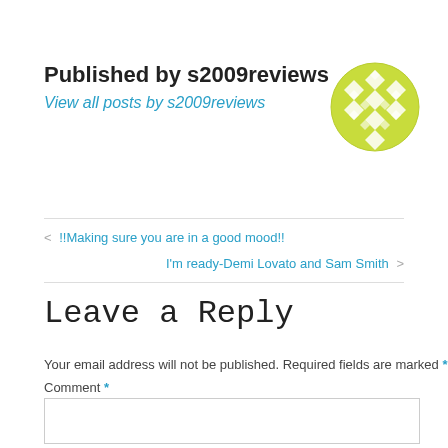Published by s2009reviews
View all posts by s2009reviews
[Figure (illustration): Circular avatar with lime green geometric diamond/chevron pattern on white background]
< !!Making sure you are in a good mood!!
I'm ready-Demi Lovato and Sam Smith >
Leave a Reply
Your email address will not be published. Required fields are marked *
Comment *